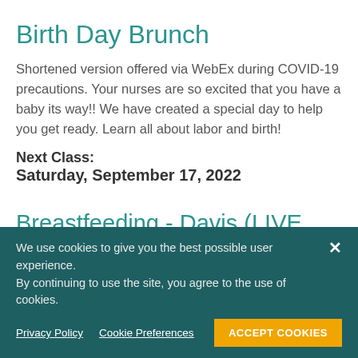Birth Day Brunch
Shortened version offered via WebEx during COVID-19 precautions. Your nurses are so excited that you have a baby its way!! We have created a special day to help you get ready. Learn all about labor and birth!
Next Class:
Saturday, September 17, 2022
Breastfeeding - Davis (LIVE STREAM CLASS WITH A
We use cookies to give you the best possible user experience. By continuing to use the site, you agree to the use of cookies.
Privacy Policy | Cookie Preferences | ACCEPT COOKIES